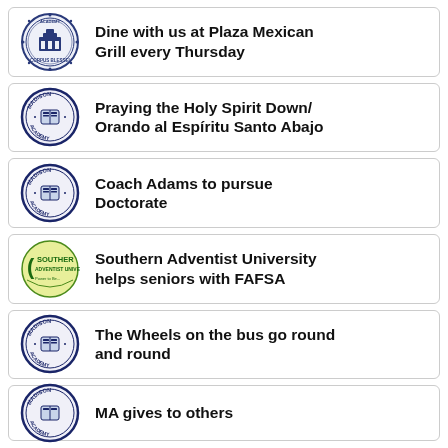Dine with us at Plaza Mexican Grill every Thursday
Praying the Holy Spirit Down/ Orando al Espíritu Santo Abajo
Coach Adams to pursue Doctorate
Southern Adventist University helps seniors with FAFSA
The Wheels on the bus go round and round
MA gives to others